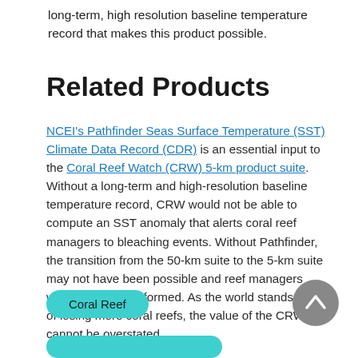long-term, high resolution baseline temperature record that makes this product possible.
Related Products
NCEI's Pathfinder Seas Surface Temperature (SST) Climate Data Record (CDR) is an essential input to the Coral Reef Watch (CRW) 5-km product suite. Without a long-term and high-resolution baseline temperature record, CRW would not be able to compute an SST anomaly that alerts coral reef managers to bleaching events. Without Pathfinder, the transition from the 50-km suite to the 5-km suite may not have been possible and reef managers would be lesser informed. As the world stands at risk of losing more coral reefs, the value of the CRW cannot be overstated.
Coral Reef
[Figure (other): Scroll-to-top button, gray circle with upward chevron arrow]